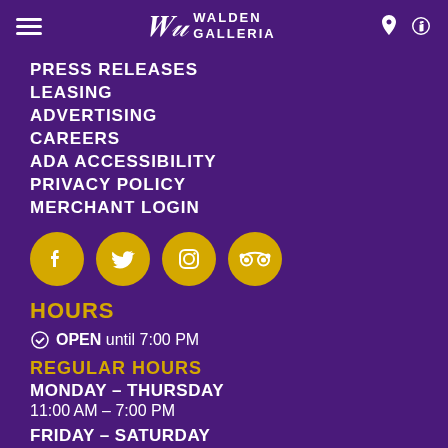Walden Galleria
PRESS RELEASES
LEASING
ADVERTISING
CAREERS
ADA ACCESSIBILITY
PRIVACY POLICY
MERCHANT LOGIN
[Figure (infographic): Four yellow circular social media icons: Facebook, Twitter, Instagram, TripAdvisor]
HOURS
OPEN until 7:00 PM
REGULAR HOURS
MONDAY – THURSDAY
11:00 AM – 7:00 PM
FRIDAY – SATURDAY